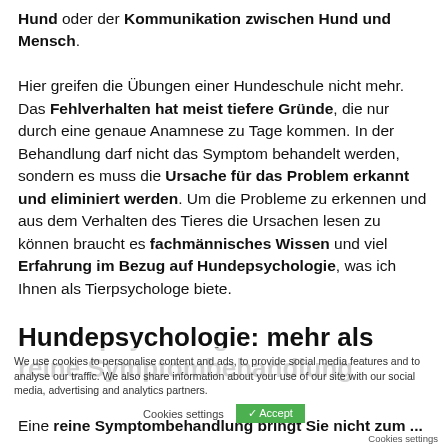Hund oder der Kommunikation zwischen Hund und Mensch. Hier greifen die Übungen einer Hundeschule nicht mehr. Das Fehlverhalten hat meist tiefere Gründe, die nur durch eine genaue Anamnese zu Tage kommen. In der Behandlung darf nicht das Symptom behandelt werden, sondern es muss die Ursache für das Problem erkannt und eliminiert werden. Um die Probleme zu erkennen und aus dem Verhalten des Tieres die Ursachen lesen zu können braucht es fachmännisches Wissen und viel Erfahrung im Bezug auf Hundepsychologie, was ich Ihnen als Tierpsychologe biete.
Hundepsychologie: mehr als reine Symptombehandlung
Eine reine Symptombehandlung bringt Sie nicht zum ...
We use cookies to personalise content and ads, to provide social media features and to analyse our traffic. We also share information about your use of our site with our social media, advertising and analytics partners.